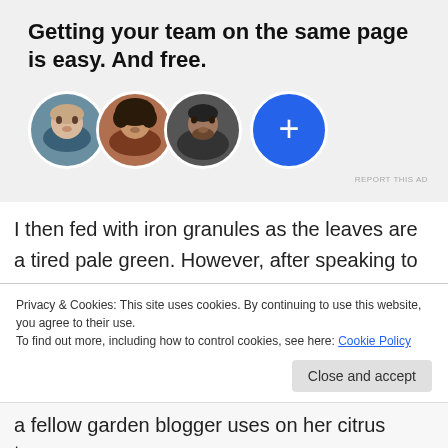[Figure (infographic): Advertisement banner with bold headline 'Getting your team on the same page is easy. And free.' with three circular profile photos and a blue plus button circle, on a light grey background.]
I then fed with iron granules as the leaves are a tired pale green. However, after speaking to a lady who grows ornamental citrus trees professionally, I am going to remove those. But then … she seemed
Privacy & Cookies: This site uses cookies. By continuing to use this website, you agree to their use.
To find out more, including how to control cookies, see here: Cookie Policy
a fellow garden blogger uses on her citrus trees.